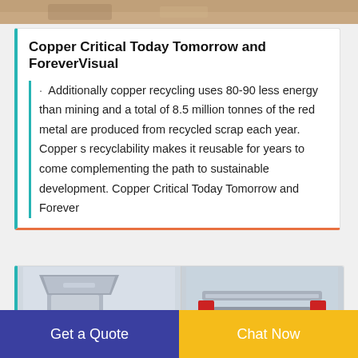[Figure (photo): Top cropped photo strip showing a person or object with warm brown tones]
Copper Critical Today Tomorrow and ForeverVisual
Additionally copper recycling uses 80-90 less energy than mining and a total of 8.5 million tonnes of the red metal are produced from recycled scrap each year. Copper s recyclability makes it reusable for years to come complementing the path to sustainable development. Copper Critical Today Tomorrow and Forever
[Figure (photo): Two 3D rendered industrial machines (copper recycling/shredding equipment) shown side by side in a card below the text]
Get a Quote
Chat Now